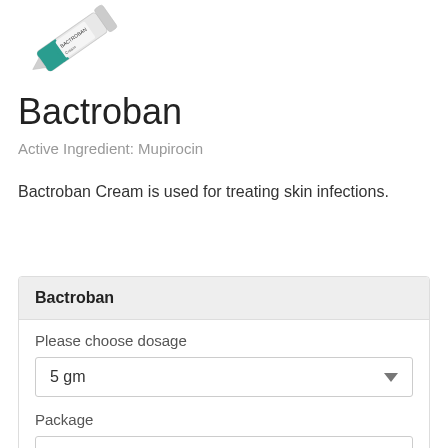[Figure (photo): Product image of Bactroban cream tube, shown at an angle, white and teal packaging]
Bactroban
Active Ingredient: Mupirocin
Bactroban Cream is used for treating skin infections.
| Bactroban |
| --- |
| Please choose dosage | 5 gm |
| Package | 1 creams |